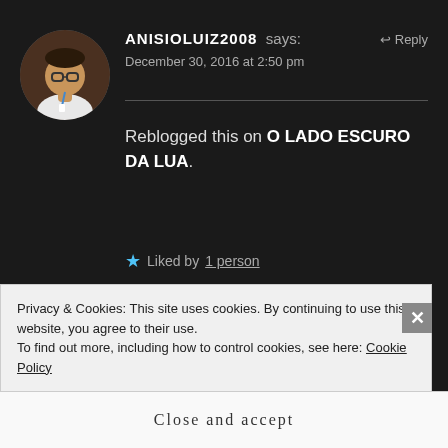[Figure (photo): Round avatar photo of a man wearing a white shirt and glasses with an ID lanyard, shown in a circular crop on a dark background]
ANISIOLUIZ2008 says:
December 30, 2016 at 2:50 pm
Reblogged this on O LADO ESCURO DA LUA.
★ Liked by 1 person
DOMESTIC DIVA says:
↩ Reply
Privacy & Cookies: This site uses cookies. By continuing to use this website, you agree to their use.
To find out more, including how to control cookies, see here: Cookie Policy
Close and accept